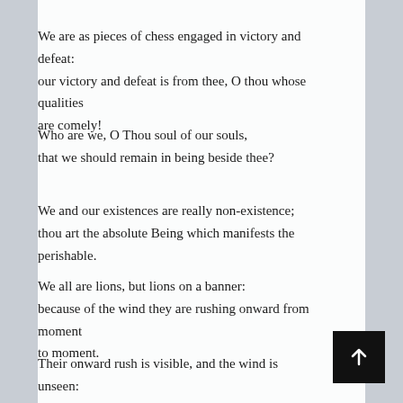We are as pieces of chess engaged in victory and defeat:
our victory and defeat is from thee, O thou whose qualities
are comely!
Who are we, O Thou soul of our souls,
that we should remain in being beside thee?
We and our existences are really non-existence;
thou art the absolute Being which manifests the perishable.
We all are lions, but lions on a banner:
because of the wind they are rushing onward from moment
to moment.
Their onward rush is visible, and the wind is unseen:
may that which is unseen not fail from us!